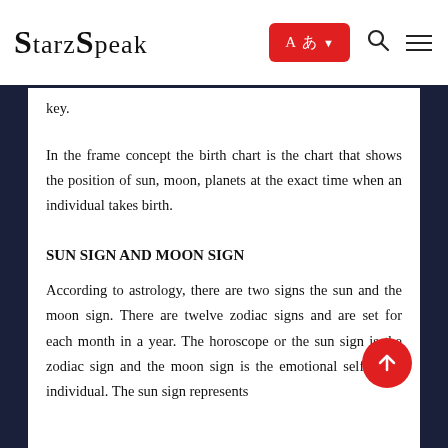StarzSpeak
key.
In the frame concept the birth chart is the chart that shows the position of sun, moon, planets at the exact time when an individual takes birth.
SUN SIGN AND MOON SIGN
According to astrology, there are two signs the sun and the moon sign. There are twelve zodiac signs and are set for each month in a year. The horoscope or the sun sign is the zodiac sign and the moon sign is the emotional self of an individual. The sun sign represents